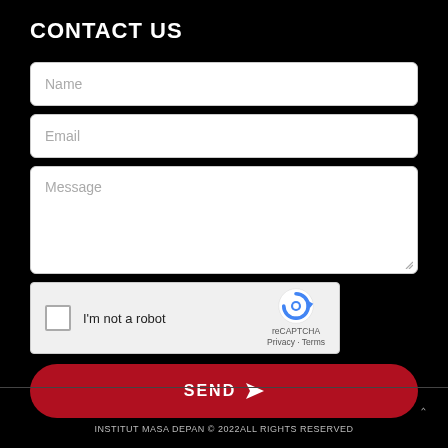CONTACT US
[Figure (screenshot): Contact form with Name, Email, Message fields, reCAPTCHA widget, and a SEND button]
INSTITUT MASA DEPAN © 2022ALL RIGHTS RESERVED